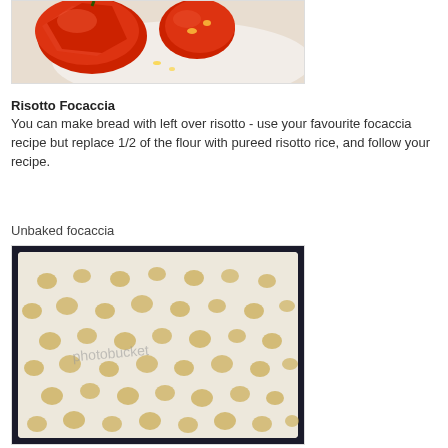[Figure (photo): Photo of sliced tomatoes on a white cutting board, partially cropped at top]
Risotto Focaccia
You can make bread with left over risotto - use your favourite focaccia recipe but replace 1/2 of the flour with pureed risotto rice, and follow your recipe.
Unbaked focaccia
[Figure (photo): Photo of unbaked focaccia dough in a dark baking tray, showing dimpled surface with olive oil pooled in the indentations, with a faint photobucket watermark]